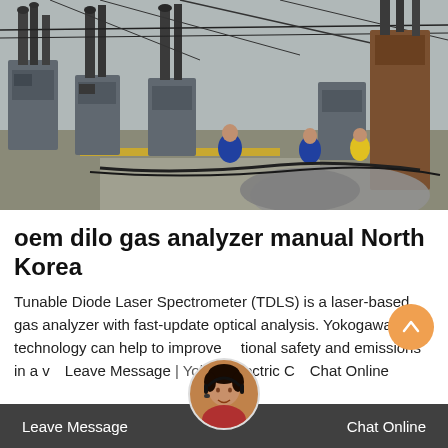[Figure (photo): Outdoor electrical substation with large transformers and control cabinets. Workers in blue coveralls and a person in grey rain cover are visible on a concrete walkway. Overhead lines and industrial equipment surround the scene.]
oem dilo gas analyzer manual North Korea
Tunable Diode Laser Spectrometer (TDLS) is a laser-based gas analyzer with fast-update optical analysis. Yokogawa TDLS technology can help to improve operational safety and emissions in a v... Leave Message | Yokogawa Electric C... Chat Online